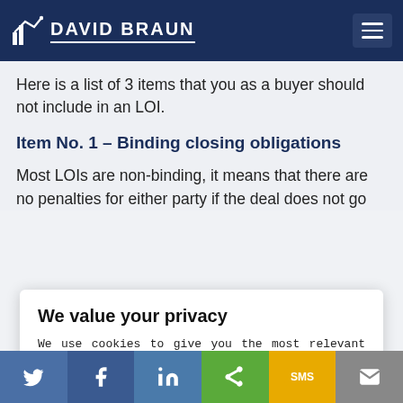DAVID BRAUN
Here is a list of 3 items that you as a buyer should not include in an LOI.
Item No. 1 – Binding closing obligations
Most LOIs are non-binding, it means that there are no penalties for either party if the deal does not go
We value your privacy
We use cookies to give you the most relevant experience by remembering your preferences. Read our Cookie Policy. Click the Cookie Settings button to see what cookies are used. Read our privacy statement
Do not sell my personal information.